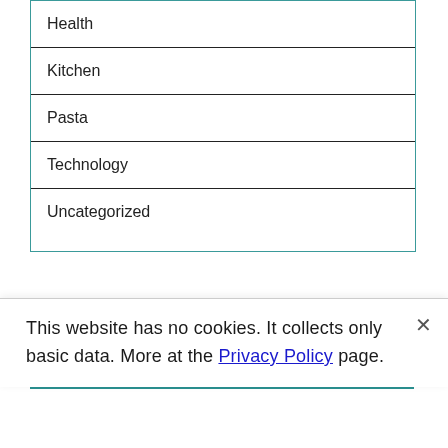Health
Kitchen
Pasta
Technology
Uncategorized
Recent Posts
This website has no cookies. It collects only basic data. More at the Privacy Policy page.